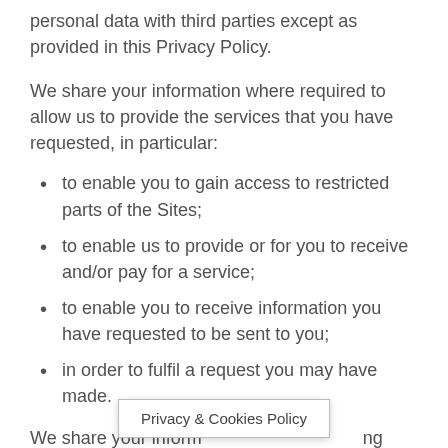personal data with third parties except as provided in this Privacy Policy.
We share your information where required to allow us to provide the services that you have requested, in particular:
to enable you to gain access to restricted parts of the Sites;
to enable us to provide or for you to receive and/or pay for a service;
to enable you to receive information you have requested to be sent to you;
in order to fulfil a request you may have made.
We share your inform[ation with the followi]ng third
Privacy & Cookies Policy